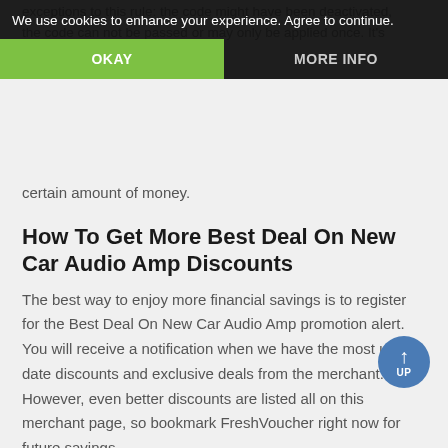exceptions to this rule: the code might have been deactivated, the code can not be passed or may only be applied once. It's
We use cookies to enhance your experience. Agree to continue.
OKAY
MORE INFO
certain amount of money.
How To Get More Best Deal On New Car Audio Amp Discounts
The best way to enjoy more financial savings is to register for the Best Deal On New Car Audio Amp promotion alert. You will receive a notification when we have the most up to date discounts and exclusive deals from the merchant. However, even better discounts are listed all on this merchant page, so bookmark FreshVoucher right now for future savings.
Disclaimer & Endorsement
The Best Deal On New Car Audio Amp vouchers are shared by customers and they might be expired or just not working. Prices